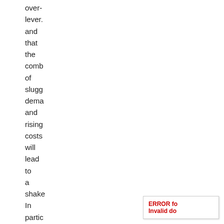over-lever. and that the comb of slugg dema and rising costs will lead to a shake In partic resid comp funde large by custo adva have